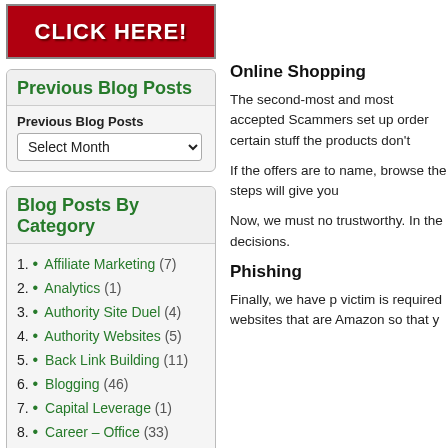[Figure (other): Red banner button with white bold text reading CLICK HERE!]
Previous Blog Posts
Previous Blog Posts
Select Month (dropdown)
Blog Posts By Category
Affiliate Marketing (7)
Analytics (1)
Authority Site Duel (4)
Authority Websites (5)
Back Link Building (11)
Blogging (46)
Capital Leverage (1)
Career – Office (33)
Online Shopping
The second-most and most accepted Scammers set up order certain stuff the products don't
If the offers are to name, browse the steps will give you
Now, we must no trustworthy. In the decisions.
Phishing
Finally, we have p victim is required websites that are Amazon so that y